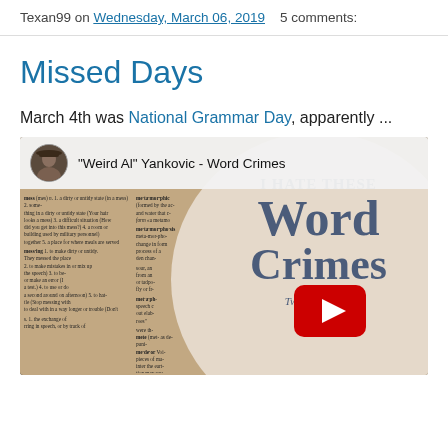Texan99 on Wednesday, March 06, 2019   5 comments:
Missed Days
March 4th was National Grammar Day, apparently ...
[Figure (screenshot): YouTube video thumbnail for 'Weird Al' Yankovic - Word Crimes, showing a dictionary page background with a circular overlay reading 'I HATE THESE Word Crimes' in blue-gray serif text, with a YouTube play button in the center-right area.]